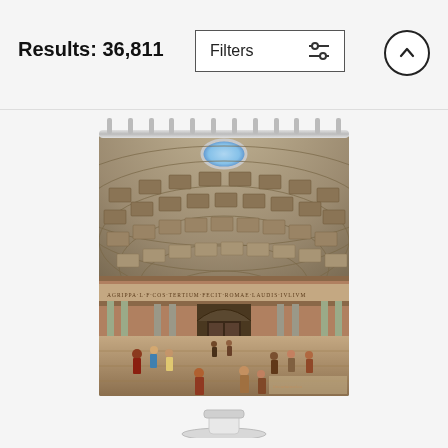Results: 36,811
Filters
[Figure (screenshot): A search results page showing a shower curtain product featuring a classical painting of the interior of the Pantheon in Rome. The curtain shows the grand domed ceiling with its oculus, ornate coffered dome, classical columns, and figures in period dress on the floor below. The product is shown hanging on a curtain rod with hooks, displayed on a white stand. A 'fine art america' watermark is visible in the bottom right of the image.]